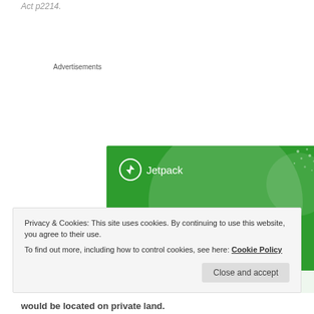Act p2214.
Advertisements
[Figure (screenshot): Jetpack advertisement banner with green background showing 'The best real-time WordPress backup plugin' with Jetpack logo and a button at the bottom.]
Privacy & Cookies: This site uses cookies. By continuing to use this website, you agree to their use.
To find out more, including how to control cookies, see here: Cookie Policy
would be located on private land.